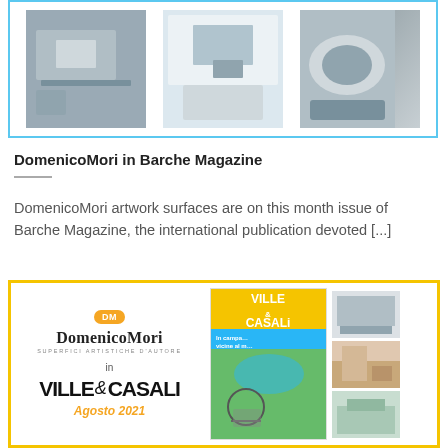[Figure (photo): Three interior/product photos in a blue-bordered card: a dark office/desk scene, a light living/workspace scene, and a grey object on plate.]
DomenicoMori in Barche Magazine
DomenicoMori artwork surfaces are on this month issue of Barche Magazine, the international publication devoted [...]
[Figure (illustration): Yellow-bordered promotional card showing DomenicoMori logo and branding 'in VILLE & CASALI – Agosto 2021', alongside Ville e Casali magazine cover and interior photo collage.]